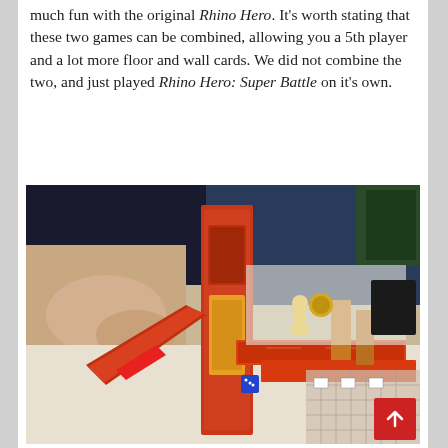much fun with the original Rhino Hero. It's worth stating that these two games can be combined, allowing you a 5th player and a lot more floor and wall cards. We did not combine the two, and just played Rhino Hero: Super Battle on it's own.
[Figure (photo): Photo of a Rhino Hero: Super Battle board game in progress, showing a tall multi-story tower built from wall cards with floor cards, a yellow meeple/player piece on top, a blue die on the table, and players' hands visible in the background.]